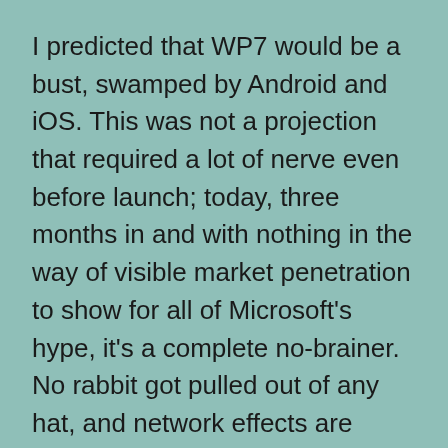I predicted that WP7 would be a bust, swamped by Android and iOS. This was not a projection that required a lot of nerve even before launch; today, three months in and with nothing in the way of visible market penetration to show for all of Microsoft's hype, it's a complete no-brainer. No rabbit got pulled out of any hat, and network effects are pushing against WP7 rather than for it.
It would take an event at least as dramatic as Nokia betting the company on WP7 to revive this product. But I think nothing like that will happen, and that WP7's effect on the